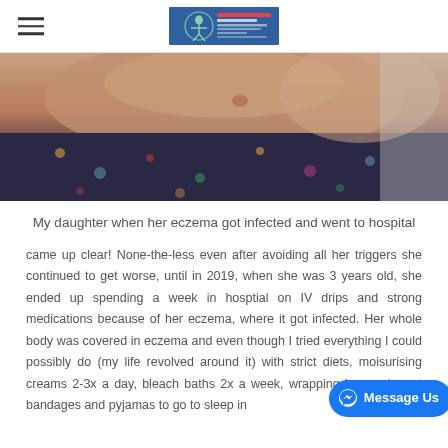[Hamburger menu icon] [Logo: Sports Therapist / Physio Boston]
[Figure (photo): A close-up photo of a child's torso/shoulder area showing skin with eczema, wearing a dark patterned top. The skin shows redness and irritation consistent with infected eczema.]
My daughter when her eczema got infected and went to hospital
came up clear! None-the-less even after avoiding all her triggers she continued to get worse, until in 2019, when she was 3 years old, she ended up spending a week in hosptial on IV drips and strong medications because of her eczema, where it got infected. Her whole body was covered in eczema and even though I tried everything I could possibly do (my life revolved around it) with strict diets, moisurising creams 2-3x a day, bleach baths 2x a week, wrapping her up in wet bandages and pyjamas to go to sleep in